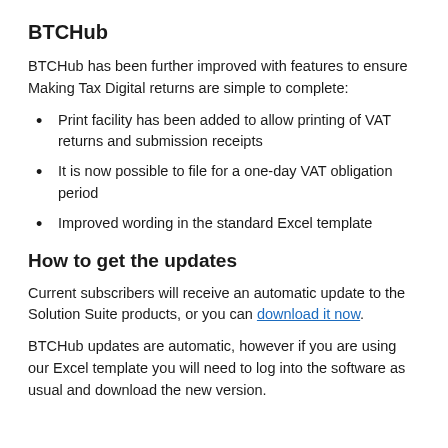BTCHub
BTCHub has been further improved with features to ensure Making Tax Digital returns are simple to complete:
Print facility has been added to allow printing of VAT returns and submission receipts
It is now possible to file for a one-day VAT obligation period
Improved wording in the standard Excel template
How to get the updates
Current subscribers will receive an automatic update to the Solution Suite products, or you can download it now.
BTCHub updates are automatic, however if you are using our Excel template you will need to log into the software as usual and download the new version.